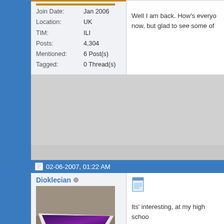Join Date: Jan 2006
Location: UK
TIM: ILI
Posts: 4,304
Mentioned: 6 Post(s)
Tagged: 0 Thread(s)
Well I am back. How's everyo... now, but glad to see some of
02-06-2007, 01:22 AM
Dioklecian
[Figure (photo): Photo of a MacBook laptop being held open, showing a purple/dark screen, keyboard visible, taken in a store-like environment.]
Join Date: Jan 2006
Location: UK
TIM: ILI
Its' interesting, at my high schoo... clock identical to the one at beg... was ENTP with heavy ISFJ influ...